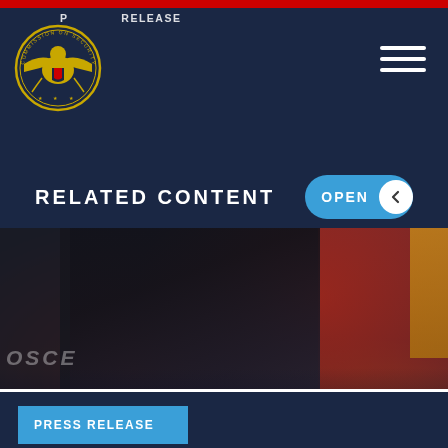PRESS RELEASE
RELATED CONTENT
[Figure (photo): Blurred photo of conference attendees at an OSCE event, showing silhouetted figures with red chairs and flags in background]
DIRECTOR OF OSCE OFFICE FOR DEMOCRATIC INSTITUTIONS AND HUMAN RIGHTS TO TESTIFY AT HELSINKI COMMISSION HEARING
WEDNESDAY, JANUARY 22, 2020
PRESS RELEASE